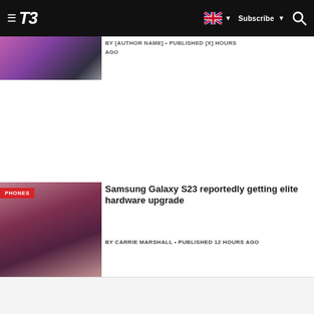T3 — Subscribe
[Figure (photo): Partial image of colorful headphones or earbuds in pink/purple hues]
BY [AUTHOR] • PUBLISHED [X] HOURS AGO
[Figure (photo): Samsung Galaxy S23 Ultra smartphone in burgundy/dark pink color, lying flat, with camera module visible]
Samsung Galaxy S23 reportedly getting elite hardware upgrade
BY CARRIE MARSHALL • PUBLISHED 12 HOURS AGO